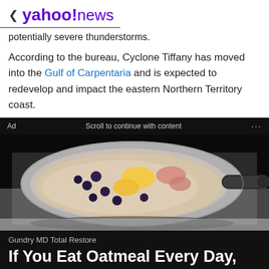< yahoo!news
potentially severe thunderstorms.
According to the bureau, Cyclone Tiffany has moved into the Gulf of Carpentaria and is expected to redevelop and impact the eastern Northern Territory coast.
Ad   Scroll to continue with content   ...
[Figure (photo): A pot/saucepan containing oatmeal with blueberries and what appears to be egg yolk on top, viewed from above against a white background]
Gundry MD Total Restore
If You Eat Oatmeal Every Day, This Is What